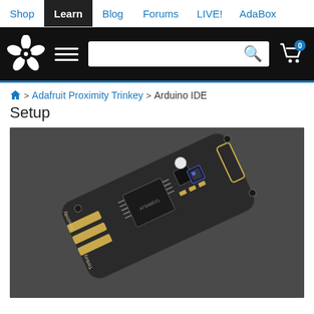Shop | Learn | Blog | Forums | LIVE! | AdaBox
[Figure (logo): Adafruit navigation header with flower logo, hamburger menu, search bar, and shopping cart]
Home > Adafruit Proximity Trinkey > Arduino IDE Setup
Arduino IDE Setup
[Figure (photo): Photo of Adafruit Proximity Trinkey circuit board on dark gray background. The board is a small rounded-rectangle PCB with USB connector, proximity sensor, NeoPixel LED, microcontroller chip, and gold pads labeled 'Proximity' and 'Trinkey'.]